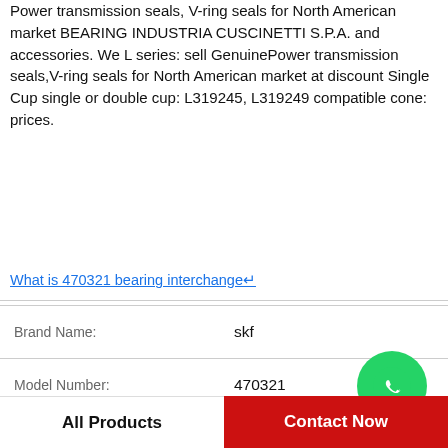Power transmission seals, V-ring seals for North American market BEARING INDUSTRIA CUSCINETTI S.P.A. and accessories. We L series: sell GenuinePower transmission seals,V-ring seals for North American market at discount Single Cup single or double cup: L319245, L319249 compatible cone: prices.
What is 470321 bearing interchange↵
| Property | Value |
| --- | --- |
| Brand Name: | skf |
| Model Number: | 470321 |
| single or double cup:: | Single Cup |
| compatible cone:: | L319245, L319249 |
| series:: | L |
| abma precision rating:: | Class 2 |
All Products
Contact Now